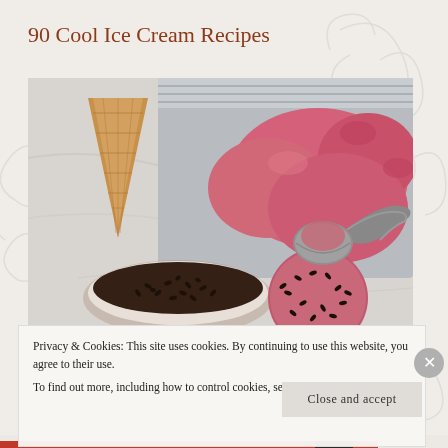90 Cool Ice Cream Recipes
[Figure (photo): Overhead view of strawberry ice cream in a metal tray with an ice cream scoop, a chocolate-sprinkle-covered ice cream ball, a waffle cone, and a bowl of chocolate sprinkles on a marble surface.]
Privacy & Cookies: This site uses cookies. By continuing to use this website, you agree to their use.
To find out more, including how to control cookies, see here: Cookie Policy
Close and accept